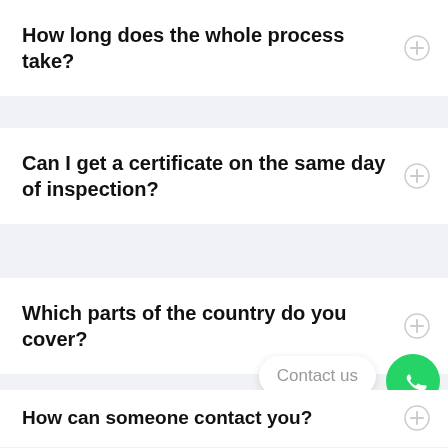How long does the whole process take?
Can I get a certificate on the same day of inspection?
Which parts of the country do you cover?
How can someone contact you?